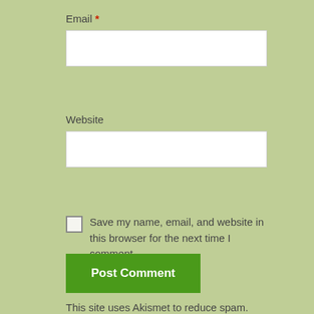Email *
Website
Save my name, email, and website in this browser for the next time I comment.
Post Comment
This site uses Akismet to reduce spam. Learn how your comment data is.